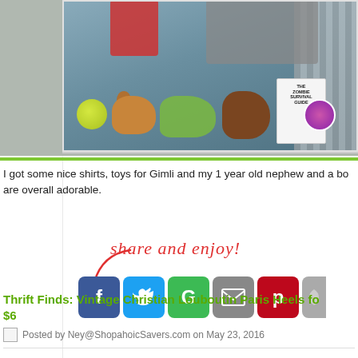[Figure (photo): Photo of thrift store finds laid on a blue couch: shirts, dog toys (tennis ball, stuffed animals), a green shoe, a large brown stuffed dog, The Zombie Survival Guide book, and a round purple sticker/item]
I got some nice shirts, toys for Gimli and my 1 year old nephew and a bo... are overall adorable.
[Figure (infographic): Share and enjoy! text with arrow and social media icons: Facebook (blue), Twitter (light blue), Google+ (green with G), Email (gray envelope), Pinterest (red P), and one more partially visible]
Thrift Finds: Vintage Christian Louboutin Paris Heels fo... $6
Posted by Ney@ShopahoicSavers.com on May 23, 2016